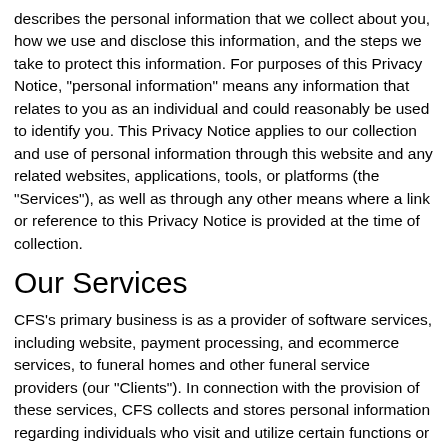describes the personal information that we collect about you, how we use and disclose this information, and the steps we take to protect this information. For purposes of this Privacy Notice, "personal information" means any information that relates to you as an individual and could reasonably be used to identify you. This Privacy Notice applies to our collection and use of personal information through this website and any related websites, applications, tools, or platforms (the "Services"), as well as through any other means where a link or reference to this Privacy Notice is provided at the time of collection.
Our Services
CFS's primary business is as a provider of software services, including website, payment processing, and ecommerce services, to funeral homes and other funeral service providers (our "Clients"). In connection with the provision of these services, CFS collects and stores personal information regarding individuals who visit and utilize certain functions or features of our Clients' websites ("End Users"). This Privacy Notice applies to CFS's collection and use of Client and End User personal information but not to our Clients use of such personal information.
CFS also maintains an online presence, including an ecommerce